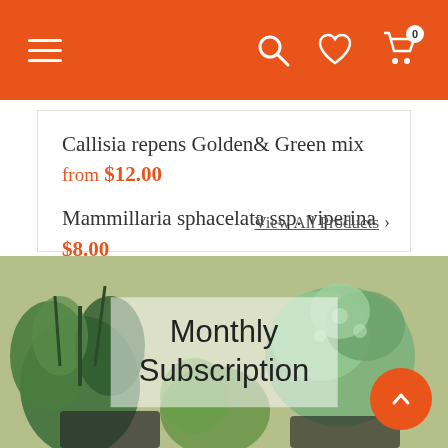Navigation bar with hamburger menu, search, heart/wishlist, and cart (0) icons
Callisia repens Golden& Green mix — from $12.00
Mammillaria sphacelata ssp. viperina — $8.00
Crassula 'Ivory Tower' — $7.45
View All Products >
[Figure (photo): Photo of succulents and plants with a semi-transparent overlay label reading 'Monthly Subscription']